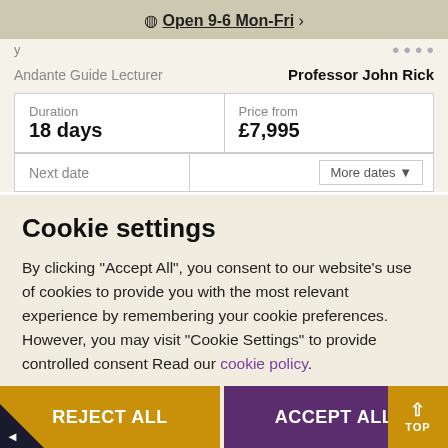Open 9-6 Mon-Fri
Andante Guide Lecturer    Professor John Rick
| Duration | Price from |
| --- | --- |
| 18 days | £7,995 |
| Next date | More dates |
| --- | --- |
Cookie settings
By clicking "Accept All", you consent to our website's use of cookies to provide you with the most relevant experience by remembering your cookie preferences. However, you may visit "Cookie Settings" to provide controlled consent Read our cookie policy.
Cookie settings
REJECT ALL   ACCEPT ALL